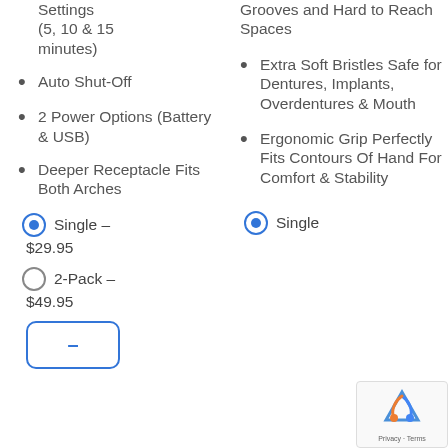Settings (5, 10 & 15 minutes)
Auto Shut-Off
2 Power Options (Battery & USB)
Deeper Receptacle Fits Both Arches
Single – $29.95
2-Pack – $49.95
Grooves and Hard to Reach Spaces
Extra Soft Bristles Safe for Dentures, Implants, Overdentures & Mouth
Ergonomic Grip Perfectly Fits Contours Of Hand For Comfort & Stability
Single